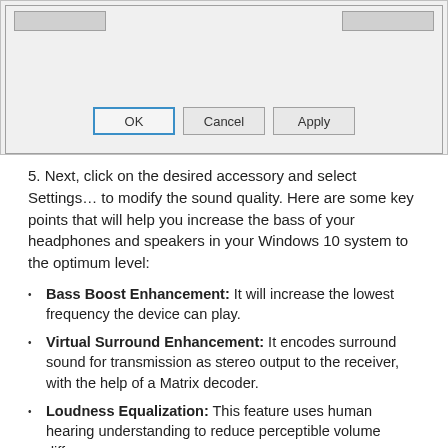[Figure (screenshot): Windows dialog box showing OK, Cancel, and Apply buttons at the bottom of a settings window with gray background.]
5. Next, click on the desired accessory and select Settings… to modify the sound quality. Here are some key points that will help you increase the bass of your headphones and speakers in your Windows 10 system to the optimum level:
Bass Boost Enhancement: It will increase the lowest frequency the device can play.
Virtual Surround Enhancement: It encodes surround sound for transmission as stereo output to the receiver, with the help of a Matrix decoder.
Loudness Equalization: This feature uses human hearing understanding to reduce perceptible volume differences.
Room Calibration: It is used to maximize...